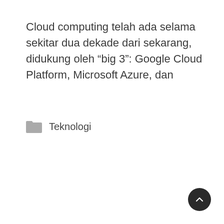Cloud computing telah ada selama sekitar dua dekade dari sekarang, didukung oleh “big 3”: Google Cloud Platform, Microsoft Azure, dan
Teknologi